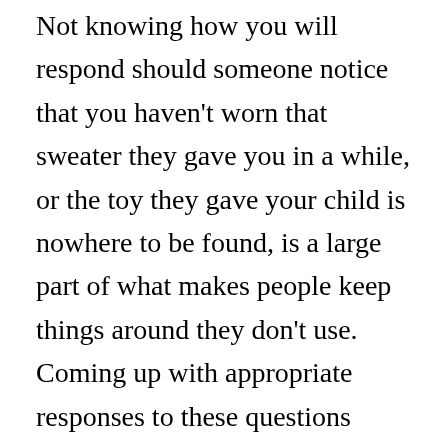Not knowing how you will respond should someone notice that you haven't worn that sweater they gave you in a while, or the toy they gave your child is nowhere to be found, is a large part of what makes people keep things around they don't use. Coming up with appropriate responses to these questions before they come up will make getting rid of gift items much easier. Some appropriate responses might include-
“I really appreciated the gift, but I wasn’t using it as often as I knew someone else...